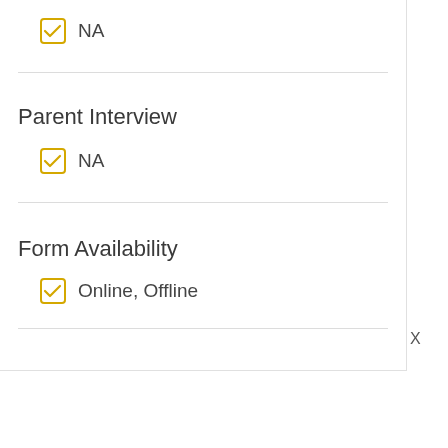NA
Parent Interview
NA
Form Availability
Online, Offline